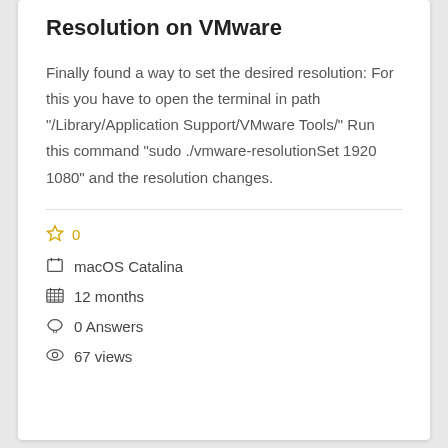Resolution on VMware
Finally found a way to set the desired resolution: For this you have to open the terminal in path "/Library/Application Support/VMware Tools/" Run this command "sudo ./vmware-resolutionSet 1920 1080" and the resolution changes.
☆ 0
macOS Catalina
12 months
0 Answers
67 views